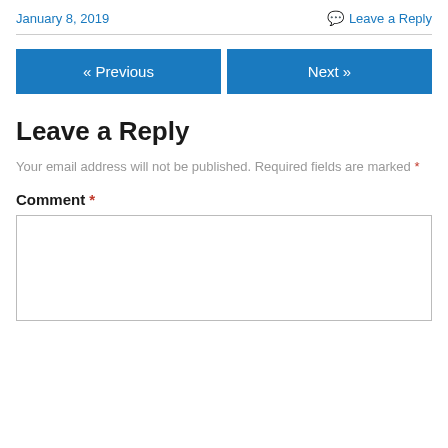January 8, 2019
Leave a Reply
« Previous
Next »
Leave a Reply
Your email address will not be published. Required fields are marked *
Comment *